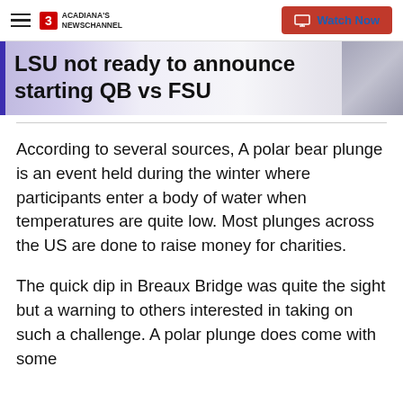ACADIANA'S NEWSCHANNEL | Watch Now
LSU not ready to announce starting QB vs FSU
According to several sources, A polar bear plunge is an event held during the winter where participants enter a body of water when temperatures are quite low. Most plunges across the US are done to raise money for charities.
The quick dip in Breaux Bridge was quite the sight but a warning to others interested in taking on such a challenge. A polar plunge does come with some